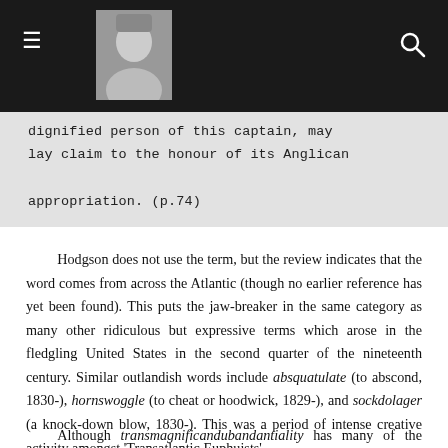Navigation bar with hamburger menu, portrait photo, and search icon
dignified person of this captain, may lay claim to the honour of its Anglican appropriation. (p.74)
Hodgson does not use the term, but the review indicates that the word comes from across the Atlantic (though no earlier reference has yet been found). This puts the jaw-breaker in the same category as many other ridiculous but expressive terms which arose in the fledgling United States in the second quarter of the nineteenth century. Similar outlandish words include absquatulate (to abscond, 1830-), hornswoggle (to cheat or hoodwick, 1829-), and sockdolager (a knock-down blow, 1830-). This was a period of intense creative activity amongst 'Transatlantic Euphuists'.
Although transmagnificandubandantiality has many of the characteristics of a nonsense word (compare Mary...